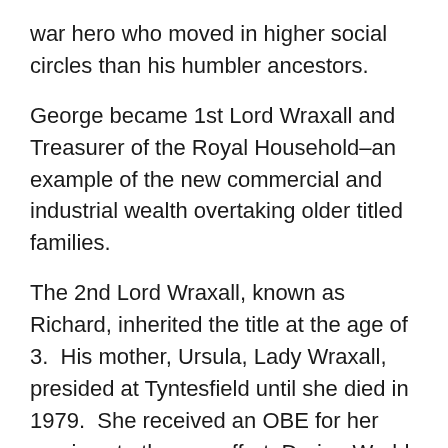war hero who moved in higher social circles than his humbler ancestors.
George became 1st Lord Wraxall and Treasurer of the Royal Household–an example of the new commercial and industrial wealth overtaking older titled families.
The 2nd Lord Wraxall, known as Richard, inherited the title at the age of 3.  His mother, Ursula, Lady Wraxall, presided at Tyntesfield until she died in 1979.  She received an OBE for her services to the war effort. During World War II, the house became a medical distribution center, with the books in the library replaced by bandages. It was also a convalescent home for American soldiers, who stage reunions there to this day.
When he came of age, the 2nd Lord Wraxall (Richard)